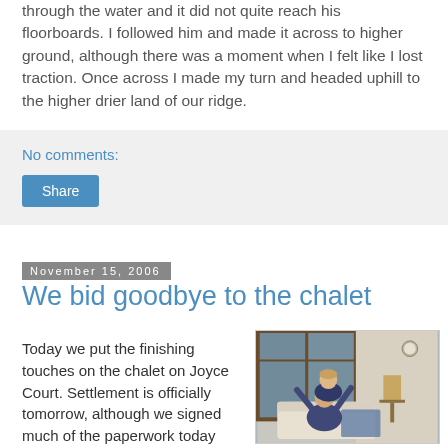through the water and it did not quite reach his floorboards. I followed him and made it across to higher ground, although there was a moment when I felt like I lost traction. Once across I made my turn and headed uphill to the higher drier land of our ridge.
No comments:
Share
November 15, 2006
We bid goodbye to the chalet
Today we put the finishing touches on the chalet on Joyce Court. Settlement is officially tomorrow, although we signed much of the paperwork today and sent it out via overnight mail.
[Figure (photo): Two people celebrating inside a chalet/home near sliding glass doors, one person seated raising arms, another standing behind them smiling, with a lamp and clock visible in the background.]